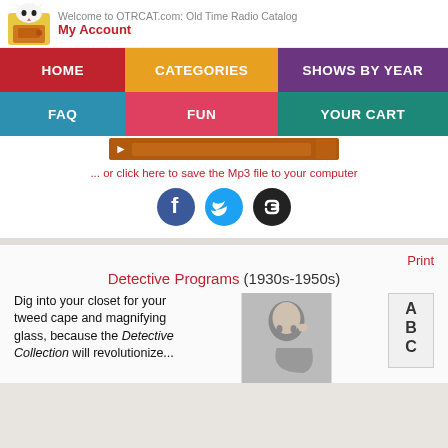Welcome to OTRCAT.com: Old Time Radio Catalog | My Account
[Figure (screenshot): Navigation menu with HOME (red), CATEGORIES (orange), SHOWS BY YEAR (purple), FAQ (blue), FUN (pink/red), YOUR CART (teal) buttons]
[Figure (screenshot): Audio player bar in orange/brown]
... or click here to save the Mp3 file to your computer
[Figure (illustration): Social media icons: Facebook (blue), Twitter (light blue), Link (black)]
Print
Detective Programs (1930s-1950s)
Dig into your closet for your tweed cape and magnifying glass, because the Detective Collection will revolutionize...
[Figure (photo): Black and white photo of person listening with hand to ear, and ABC microphone visible]